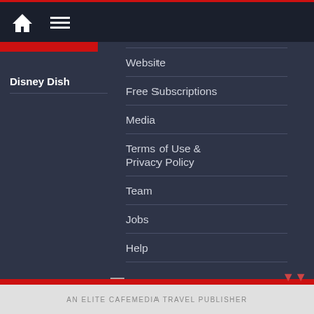[Figure (screenshot): Navigation bar with home icon and hamburger menu icon on dark background]
Disney Dish
Website
Free Subscriptions
Media
Terms of Use & Privacy Policy
Team
Jobs
Help
AN ELITE CAFEMEDIA TRAVEL PUBLISHER